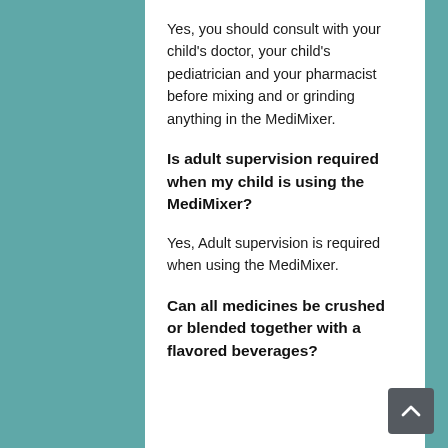Yes, you should consult with your child's doctor, your child's pediatrician and your pharmacist before mixing and or grinding anything in the MediMixer.
Is adult supervision required when my child is using the MediMixer?
Yes, Adult supervision is required when using the MediMixer.
Can all medicines be crushed or blended together with a flavored beverages?